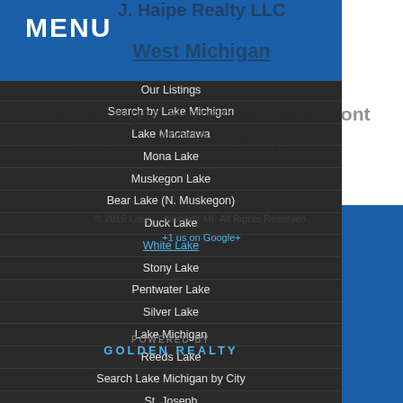MENU
Our Listings
Search by Lake Michigan
Lake Macatawa
Mona Lake
Muskegon Lake
Bear Lake (N. Muskegon)
Duck Lake
White Lake
Stony Lake
Pentwater Lake
Silver Lake
Lake Michigan
Reeds Lake
Search Lake Michigan by City
St. Joseph
South Haven
Saugatuck
Holland
Grand Haven
Muskegon
Whitehall/Montague
Shelby/Mears
Pentwater/Ludington
About Us
Contact Us
Blog